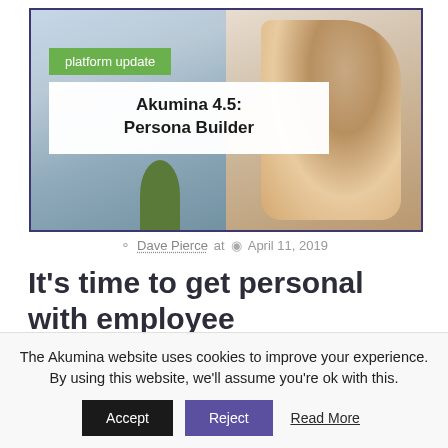[Figure (photo): Blog article header image showing a smiling woman reading a tablet, with a green 'platform update' badge and white title box reading 'Akumina 4.5: Persona Builder'. Image has dark purple border.]
Dave Pierce at  April 11, 2019
It’s time to get personal with employee
The Akumina website uses cookies to improve your experience. By using this website, we’ll assume you’re ok with this.
Accept  Reject  Read More